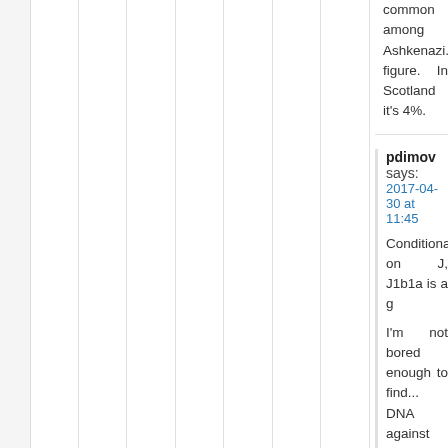common among Ashkenazi... figure. In Scotland it's 4%.
pdimov says: 2017-04-30 at 11:45
Conditional on J, J1b1a is a g...
I'm not bored enough to find... DNA against mtDNA. 🙂
Anonymous says: 2017-04-30 at 12:22
Yes, if you know that a) som... he is maternal J, then this one...
If you don't know a) and... someone's haplo, it's not a... More likely to be Aryan.
Anonymous says: 2017-04-30 at 12:44
Actually, if you know the h... know b). But it doesn't chang... J itself is not very common a...